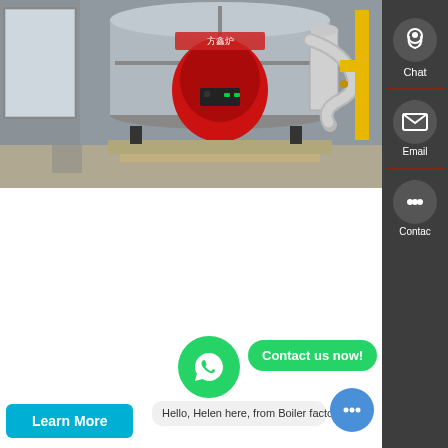[Figure (photo): Industrial natural gas fired boiler in a factory/warehouse setting, large cylindrical silver boiler with red burner front, yellow gas pipes, and flexible metal hose connections]
For Sale 8t Natural Gas Boiler Plant Russia
Price 8t Natural Gas Fired Boiler Plant Ukraine. manufacturer gas boiler bhutan. Thermona spol. s r.o. is a leading manufacturer of wall-mounted gas boilers gas condensing boilers. We have dealt in white products since 1990 and throughout this time have been a modern and dynamically developing company.Our THER...al